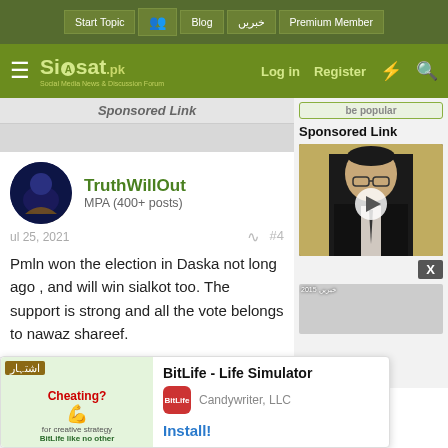Start Topic | Blog | خبریں | Premium Member
Siasat.pk - Social Media News & Discussion Forum | Log in | Register
Sponsored Link
TruthWillOut
MPA (400+ posts)
Jul 25, 2021
Pmln won the election in Daska not long ago , and will win sialkot too. The support is strong and all the vote belongs to nawaz shareef.
syf277
Sponsored Link
[Figure (photo): Video thumbnail of a man in suit and glasses, with play button overlay]
X
BitLife - Life Simulator
Candywriter, LLC
Install!